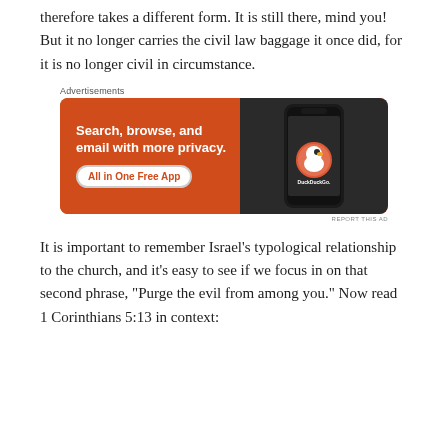therefore takes a different form. It is still there, mind you! But it no longer carries the civil law baggage it once did, for it is no longer civil in circumstance.
Advertisements
[Figure (other): DuckDuckGo advertisement banner with orange background. Text reads: 'Search, browse, and email with more privacy. All in One Free App'. Shows a smartphone with DuckDuckGo logo.]
REPORT THIS AD
It is important to remember Israel's typological relationship to the church, and it's easy to see if we focus in on that second phrase, "Purge the evil from among you." Now read 1 Corinthians 5:13 in context: